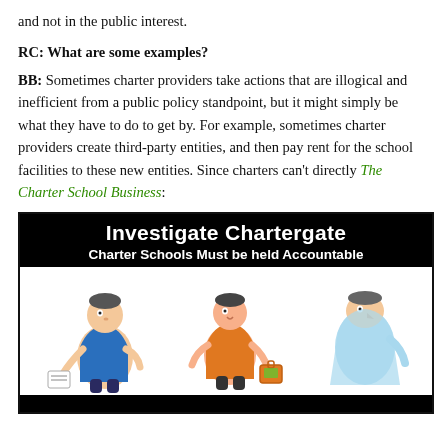and not in the public interest.
RC: What are some examples?
BB: Sometimes charter providers take actions that are illogical and inefficient from a public policy standpoint, but it might simply be what they have to do to get by. For example, sometimes charter providers create third-party entities, and then pay rent for the school facilities to these new entities. Since charters can't directly The Charter School Business:
[Figure (illustration): Black banner image with white bold text reading 'Investigate Chartergate' and 'Charter Schools Must be held Accountable', with cartoon illustration of cartoon characters below on a white background]